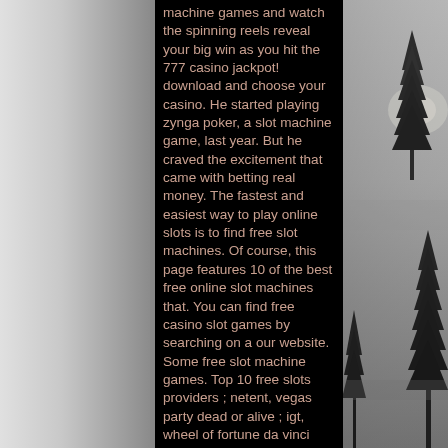machine games and watch the spinning reels reveal your big win as you hit the 777 casino jackpot! download and choose your casino. He started playing zynga poker, a slot machine game, last year. But he craved the excitement that came with betting real money. The fastest and easiest way to play online slots is to find free slot machines. Of course, this page features 10 of the best free online slot machines that. You can find free casino slot games by searching on a our website. Some free slot machine games. Top 10 free slots providers ; netent, vegas party dead or alive ; igt, wheel of fortune da vinci diamond ; aristocrat, more chilli buffalo wild panda ; microgaming. We do not accept bets! all slot machines on our website are completely free to play and require no registration or deposit whatsoever. To enter, earn five base points playing slots, table games or bingo the day of the tournament.
[Figure (photo): Black and white foggy forest scene with pine/fir trees silhouetted against a misty grey sky, visible on the right side of the page.]